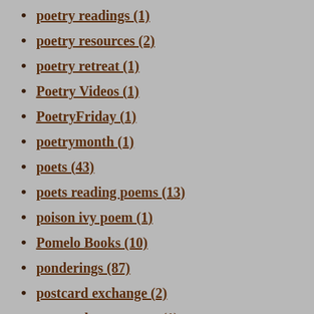poetry readings (1)
poetry resources (2)
poetry retreat (1)
Poetry Videos (1)
PoetryFriday (1)
poetrymonth (1)
poets (43)
poets reading poems (13)
poison ivy poem (1)
Pomelo Books (10)
ponderings (87)
postcard exchange (2)
postcard poem swap (1)
postcards (1)
Progressive Poem (7)
quilts (1)